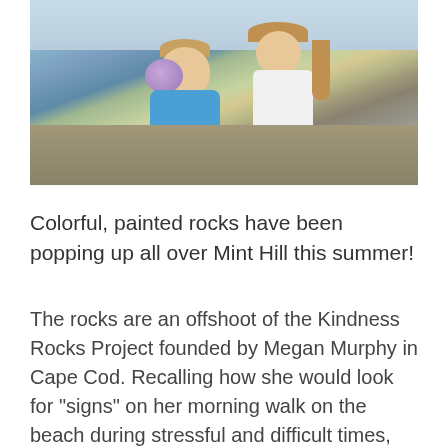[Figure (photo): Two children crouching outdoors on sandy/gravelly ground. A boy on the left wearing a blue shirt holds a painted rock, and a girl on the right wears a white shirt and yellow-green shorts. Both are smiling.]
Colorful, painted rocks have been popping up all over Mint Hill this summer!
The rocks are an offshoot of the Kindness Rocks Project founded by Megan Murphy in Cape Cod. Recalling how she would look for “signs” on her morning walk on the beach during stressful and difficult times, Murphy began painting rocks with inspirational messages and dropping a few at a time